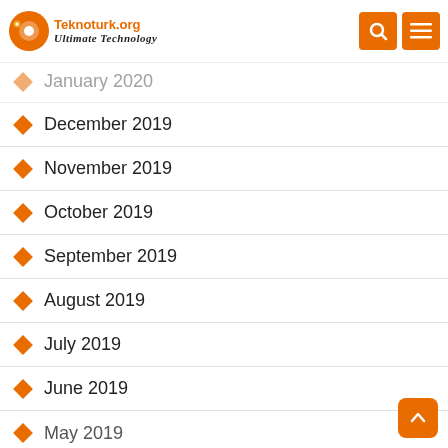Teknoturk.org – Ultimate Technology
January 2020
December 2019
November 2019
October 2019
September 2019
August 2019
July 2019
June 2019
May 2019